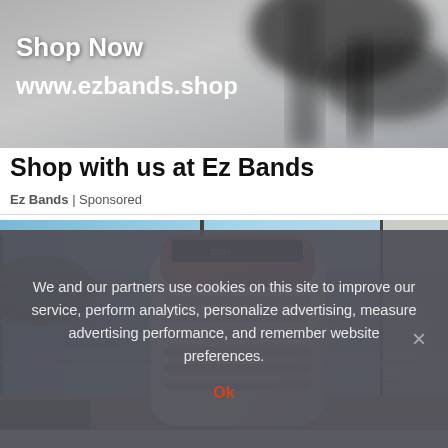[Figure (photo): Top banner ad image showing blurred fitness/gym equipment in gray tones with 'Shop Now' and 'www.ezbands.shop' text overlaid in white bold font.]
Shop with us at Ez Bands
Ez Bands | Sponsored
[Figure (photo): Photo of a white portable air conditioner unit with copper/rose-gold top panel and digital display, placed in front of large windows overlooking a beach and ocean.]
We and our partners use cookies on this site to improve our service, perform analytics, personalize advertising, measure advertising performance, and remember website preferences.
Ok